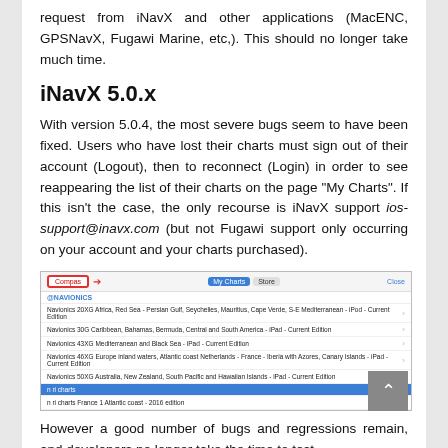request from iNavX and other applications (MacENC, GPSNavX, Fugawi Marine, etc,). This should no longer take much time.
iNavX 5.0.x
With version 5.0.4, the most severe bugs seem to have been fixed. Users who have lost their charts must sign out of their account (Logout), then to reconnect (Login) in order to see reappearing the list of their charts on the page "My Charts". If this isn't the case, the only recourse is iNavX support ios-support@inavx.com (but not Fugawi support only occurring on your account and your charts purchased).
[Figure (screenshot): Screenshot of iNavX My Charts interface showing Navionics chart listings including Africa/Red Sea, Caribbean, Mediterranean, Europe inland waters, Australia/New Zealand, and a highlighted 'n ri charts' category with France Atlantic coast 2016 edition.]
However a good number of bugs and regressions remain, and developers no longer take the time to test